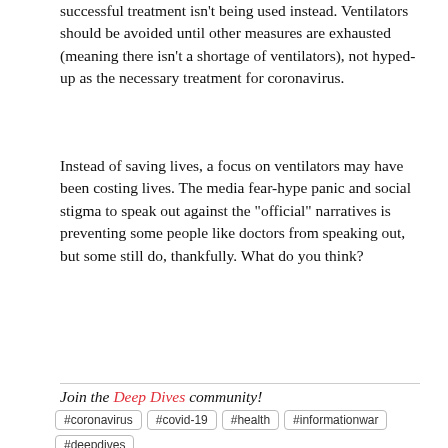successful treatment isn't being used instead. Ventilators should be avoided until other measures are exhausted (meaning there isn't a shortage of ventilators), not hyped-up as the necessary treatment for coronavirus.
Instead of saving lives, a focus on ventilators may have been costing lives. The media fear-hype panic and social stigma to speak out against the "official" narratives is preventing some people like doctors from speaking out, but some still do, thankfully. What do you think?
Join the Deep Dives community!
#coronavirus #covid-19 #health #informationwar #deepdives